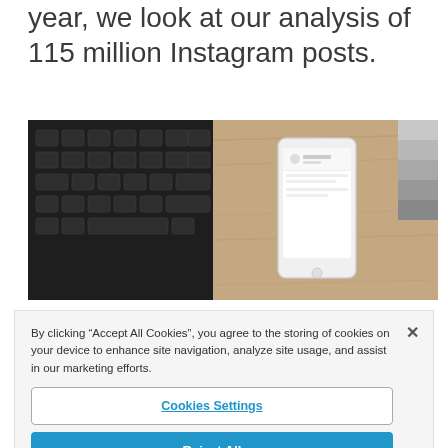year, we look at our analysis of 115 million Instagram posts.
[Figure (photo): Photo of a laptop keyboard on the left and a smartphone displaying an Instagram profile on a wooden table surface on the right]
By clicking “Accept All Cookies”, you agree to the storing of cookies on your device to enhance site navigation, analyze site usage, and assist in our marketing efforts.
Cookies Settings
Reject All
Accept All Cookies